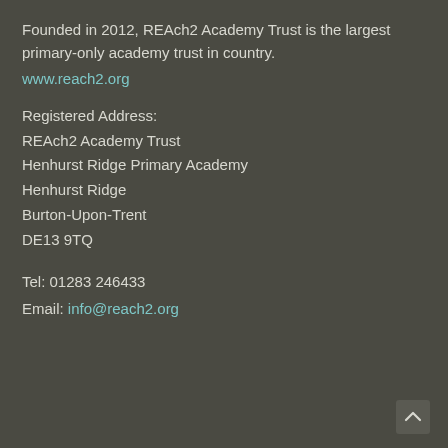Founded in 2012, REAch2 Academy Trust is the largest primary-only academy trust in country.
www.reach2.org
Registered Address:
REAch2 Academy Trust
Henhurst Ridge Primary Academy
Henhurst Ridge
Burton-Upon-Trent
DE13 9TQ
Tel: 01283 246433
Email: info@reach2.org